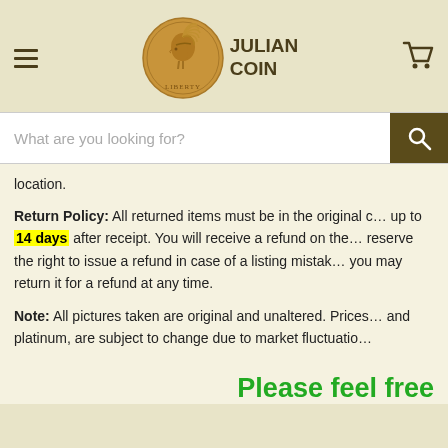Julian Coin — navigation header with logo, hamburger menu, and cart icon
[Figure (logo): Julian Coin logo: gold Indian Head coin with text JULIAN COIN beside it]
What are you looking for?
location.
Return Policy: All returned items must be in the original c… up to 14 days after receipt. You will receive a refund on the… reserve the right to issue a refund in case of a listing mistak… you may return it for a refund at any time.
Note: All pictures taken are original and unaltered. Prices … and platinum, are subject to change due to market fluctuatio…
Please feel free